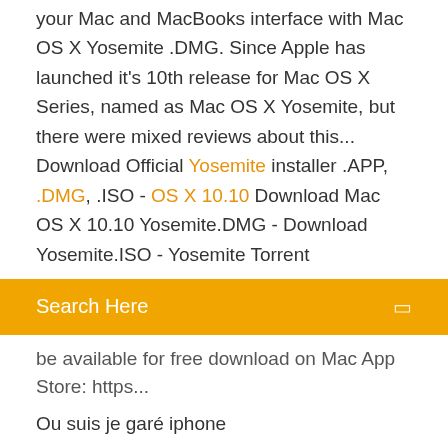your Mac and MacBooks interface with Mac OS X Yosemite .DMG. Since Apple has launched it's 10th release for Mac OS X Series, named as Mac OS X Yosemite, but there were mixed reviews about this... Download Official Yosemite installer .APP, .DMG, .ISO - OS X 10.10 Download Mac OS X 10.10 Yosemite.DMG - Download Yosemite.ISO - Yosemite Torrent
Search Here
be available for free download on Mac App Store: https...
Ou suis je garé iphone
Black ops 2 pc crack multiplayer
Telecharger boite mail outlook gratuit
Telecharger clavier virtuel gratuit
Comment personnaliser son skin minecraft pc
Logiciel tv du monde gratuit
Créer un dossier avec mot de passe windows 8
Modèle emploi du temps excel salarié
Envoyer de gros fichiers (pièces jointes) par e mail outlook